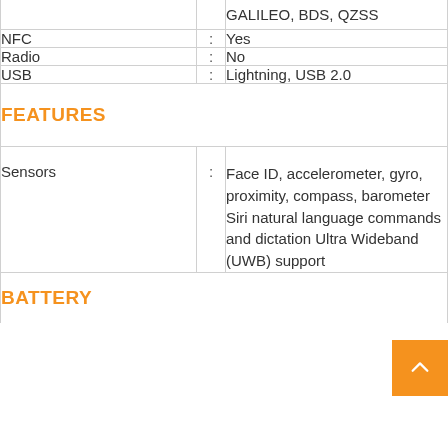| Feature | : | Value |
| --- | --- | --- |
|  |  | GALILEO, BDS, QZSS |
| NFC | : | Yes |
| Radio | : | No |
| USB | : | Lightning, USB 2.0 |
| FEATURES |  |  |
| Sensors | : | Face ID, accelerometer, gyro, proximity, compass, barometer Siri natural language commands and dictation Ultra Wideband (UWB) support |
| BATTERY |  |  |